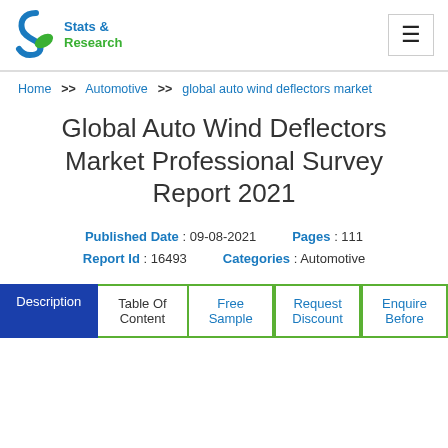[Figure (logo): Stats & Research logo with blue S icon and green leaf accent]
Home >> Automotive >> global auto wind deflectors market
Global Auto Wind Deflectors Market Professional Survey Report 2021
Published Date : 09-08-2021   Pages : 111
Report Id : 16493   Categories : Automotive
Description | Table Of Content | Free Sample | Request Discount | Enquire Before